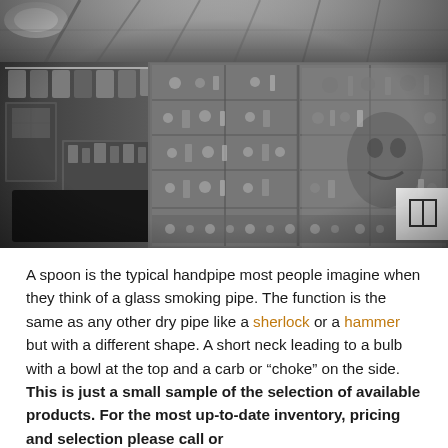[Figure (photo): Black and white interior photo of a retail smoke shop / glass pipe store. The image shows display cases filled with glass pipes and smoking products along the walls and in the center of the store. T-shirts hang on the left wall. The ceiling has exposed beams and lighting. A dark floor mat is visible in the foreground. A small icon (two-column grid) appears in the top-right corner of the photo.]
A spoon is the typical handpipe most people imagine when they think of a glass smoking pipe. The function is the same as any other dry pipe like a sherlock or a hammer but with a different shape. A short neck leading to a bulb with a bowl at the top and a carb or “choke” on the side. This is just a small sample of the selection of available products. For the most up-to-date inventory, pricing and selection please call or